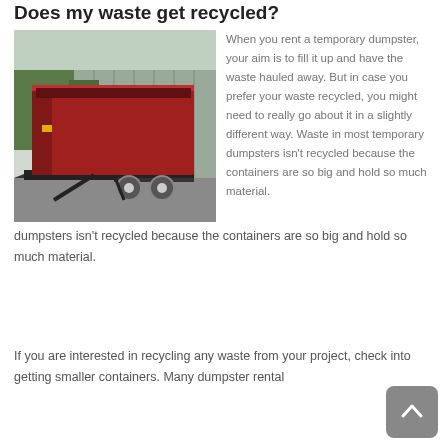Does my waste get recycled?
[Figure (photo): A red dumpster/roll-off container mounted on a black trailer with two axles and white wheels, parked on a paved lot near a grey building with trees in the background.]
When you rent a temporary dumpster, your aim is to fill it up and have the waste hauled away. But in case you prefer your waste recycled, you might need to really go about it in a slightly different way. Waste in most temporary dumpsters isn't recycled because the containers are so big and hold so much material.
If you are interested in recycling any waste from your project, check into getting smaller containers. Many dumpster rental